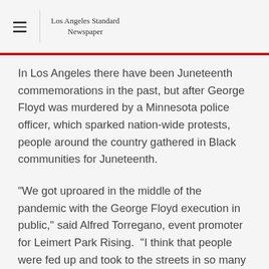Los Angeles Standard Newspaper
In Los Angeles there have been Juneteenth commemorations in the past, but after George Floyd was murdered by a Minnesota police officer, which sparked nation-wide protests, people around the country gathered in Black communities for Juneteenth.
"We got uproared in the middle of the pandemic with the George Floyd execution in public," said Alfred Torregano, event promoter for Leimert Park Rising.  "I think that people were fed up and took to the streets in so many different fashions and ways, and the protests became a global thing."
While Leimert Park Rising's Juneteenth event will be a